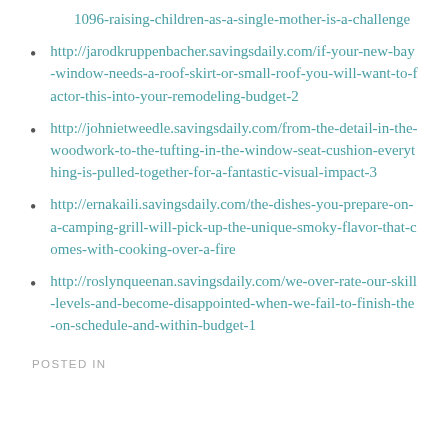1096-raising-children-as-a-single-mother-is-a-challenge
http://jarodkruppenbacher.savingsdaily.com/if-your-new-bay-window-needs-a-roof-skirt-or-small-roof-you-will-want-to-factor-this-into-your-remodeling-budget-2
http://johnietweedle.savingsdaily.com/from-the-detail-in-the-woodwork-to-the-tufting-in-the-window-seat-cushion-everything-is-pulled-together-for-a-fantastic-visual-impact-3
http://ernakaili.savingsdaily.com/the-dishes-you-prepare-on-a-camping-grill-will-pick-up-the-unique-smoky-flavor-that-comes-with-cooking-over-a-fire
http://roslynqueenan.savingsdaily.com/we-over-rate-our-skill-levels-and-become-disappointed-when-we-fail-to-finish-the-on-schedule-and-within-budget-1
POSTED IN